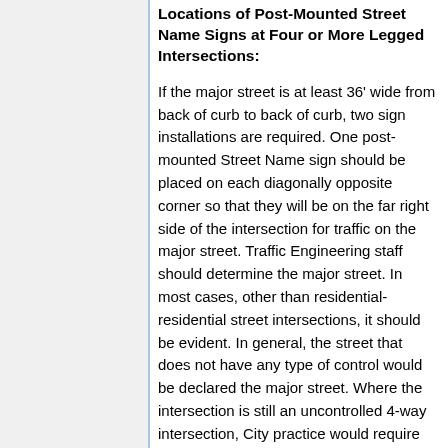Locations of Post-Mounted Street Name Signs at Four or More Legged Intersections:
If the major street is at least 36' wide from back of curb to back of curb, two sign installations are required. One post-mounted Street Name sign should be placed on each diagonally opposite corner so that they will be on the far right side of the intersection for traffic on the major street. Traffic Engineering staff should determine the major street. In most cases, other than residential-residential street intersections, it should be evident. In general, the street that does not have any type of control would be declared the major street. Where the intersection is still an uncontrolled 4-way intersection, City practice would require that we install stop signs on the minor